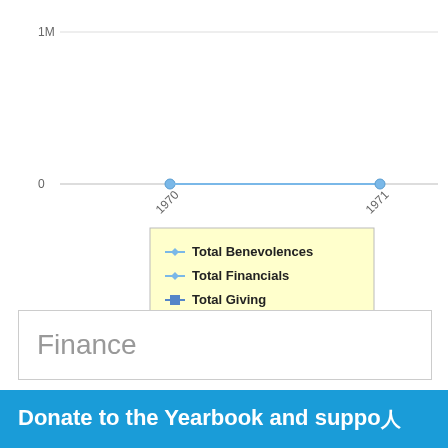[Figure (line-chart): ]
Finance
Donate to the Yearbook and support